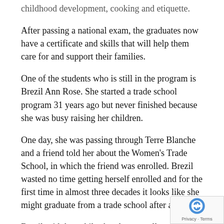childhood development, cooking and etiquette.
After passing a national exam, the graduates now have a certificate and skills that will help them care for and support their families.
One of the students who is still in the program is Brezil Ann Rose. She started a trade school program 31 years ago but never finished because she was busy raising her children.
One day, she was passing through Terre Blanche and a friend told her about the Women's Trade School, in which the friend was enrolled. Brezil wasted no time getting herself enrolled and for the first time in almost three decades it looks like she might graduate from a trade school after all.
Brezil said that while she plans to sell some of the items she'll make after graduating, a large reason she attends the trade school is to provide a better life for her family.